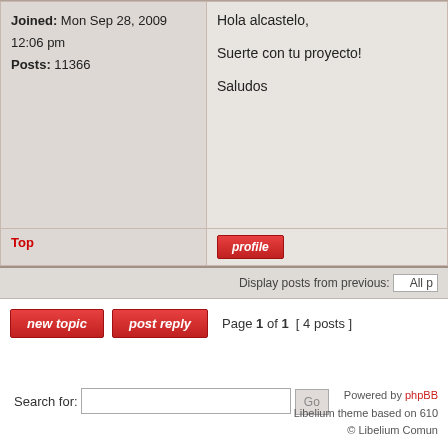| User info | Post content |
| --- | --- |
| Joined: Mon Sep 28, 2009 12:06 pm
Posts: 11366 | Hola alcastelo,

Suerte con tu proyecto!

Saludos |
| Top | profile |
Display posts from previous: All p
new topic   post reply   Page 1 of 1  [ 4 posts ]
Search for:
Powered by phpBB
Libelium theme based on 610
© Libelium Comun